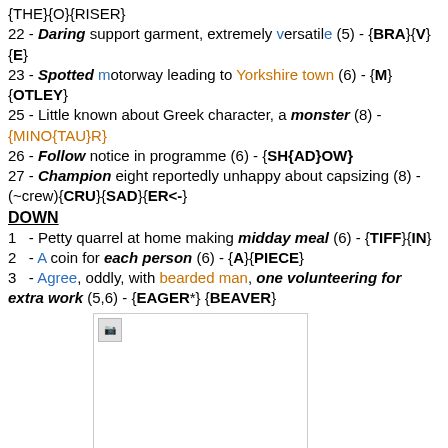{THE}{O}{RISER}
22 - Daring support garment, extremely versatile (5) - {BRA}{V}{E}
23 - Spotted motorway leading to Yorkshire town (6) - {M}{OTLEY}
25 - Little known about Greek character, a monster (8) - {MINO{TAU}R}
26 - Follow notice in programme (6) - {SH{AD}OW}
27 - Champion eight reportedly unhappy about capsizing (8) - (~crew){CRU}{SAD}{ER<-}
DOWN
1   - Petty quarrel at home making midday meal (6) - {TIFF}{IN}
2   - A coin for each person (6) - {A}{PIECE}
3   - Agree, oddly, with bearded man, one volunteering for extra work (5,6) - {EAGER*} {BEAVER}
[Figure (photo): Broken/placeholder image box]